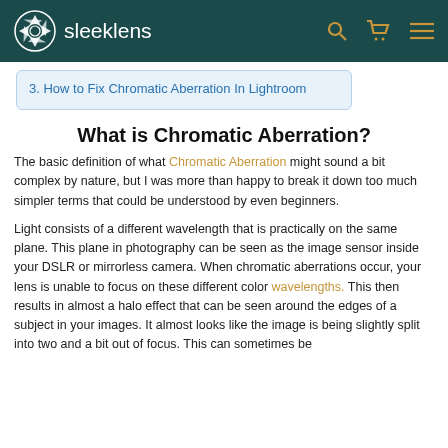sleeklens
3. How to Fix Chromatic Aberration In Lightroom
What is Chromatic Aberration?
The basic definition of what Chromatic Aberration might sound a bit complex by nature, but I was more than happy to break it down too much simpler terms that could be understood by even beginners.
Light consists of a different wavelength that is practically on the same plane. This plane in photography can be seen as the image sensor inside your DSLR or mirrorless camera. When chromatic aberrations occur, your lens is unable to focus on these different color wavelengths. This then results in almost a halo effect that can be seen around the edges of a subject in your images. It almost looks like the image is being slightly split into two and a bit out of focus. This can sometimes be